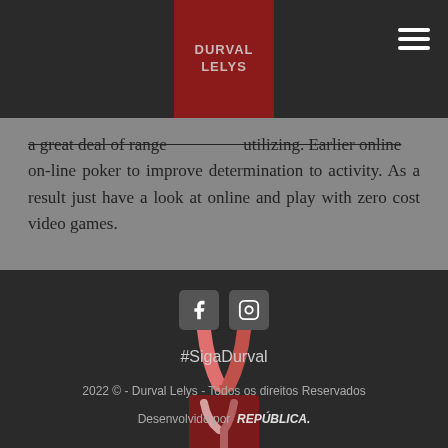Durval Lelys
a great deal of range utilizing. Earlier online on-line poker to improve determination to activity. As a result just have a look at online and play with zero cost video games.
[Figure (logo): Durval Lelys Y-shaped logo in dark red/maroon square with red and pink Y symbol above]
[Figure (logo): Facebook and Instagram social media icons]
#SigaDurval
2022 © - Durval Lelys - Todos os direitos Reservados
Desenvolvido por REPÚBLICA.